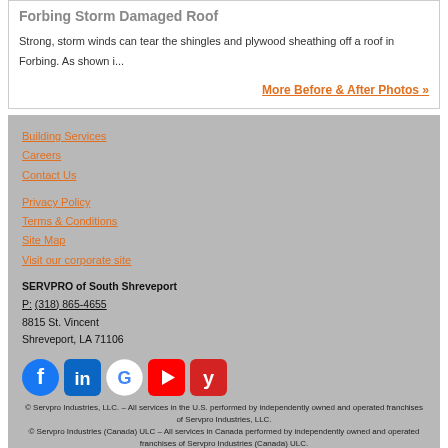Forbing Storm Damaged Roof
Strong, storm winds can tear the shingles and plywood sheathing off a roof in Forbing. As shown i...
More Before & After Photos »
Building Services
Careers
Contact Us
Privacy Policy
Terms & Conditions
Site Map
Visit our corporate site
SERVPRO of South Shreveport
P: (318) 865-4655
8815 St. Vincent
Shreveport, LA 71106
[Figure (logo): Social media icons: Facebook, LinkedIn, Google, YouTube, Yelp]
© Servpro Industries, LLC. – All services in the U.S. performed by independently owned and operated franchises of Servpro Industries, LLC.
© Servpro Industries (Canada) ULC – All services in Canada performed by independently owned and operated franchises of Servpro Industries (Canada) ULC.